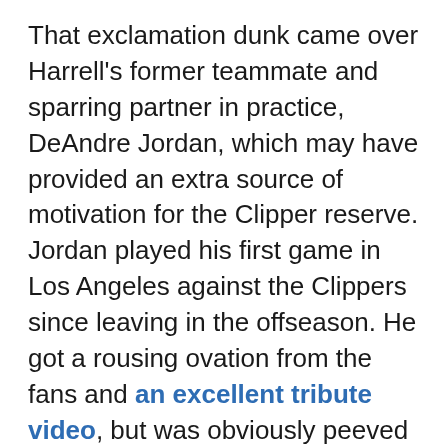That exclamation dunk came over Harrell's former teammate and sparring partner in practice, DeAndre Jordan, which may have provided an extra source of motivation for the Clipper reserve. Jordan played his first game in Los Angeles against the Clippers since leaving in the offseason. He got a rousing ovation from the fans and an excellent tribute video, but was obviously peeved to not leave with a win. Counting his games against the Lakers, Jordan is now 0-3 in Staples Center this season.
Jordan had 22 rebounds, but the Mavericks only had 45 as a team, compared to 40 for the Clippers. LA had been outrebounded by 20 in the first game; closing the gap was paramount in earning the victory this time around. The Clippers were able to put up a stronger defensive effort overall, holding their opponents under